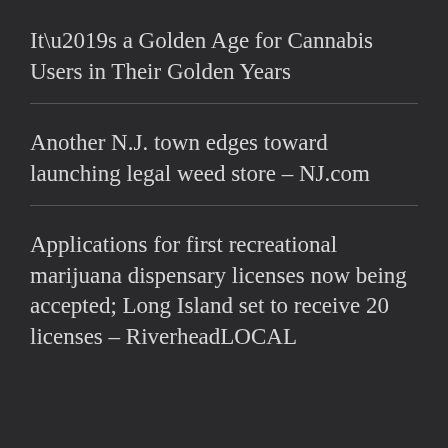It’s a Golden Age for Cannabis Users in Their Golden Years
Another N.J. town edges toward launching legal weed store – NJ.com
Applications for first recreational marijuana dispensary licenses now being accepted; Long Island set to receive 20 licenses – RiverheadLOCAL